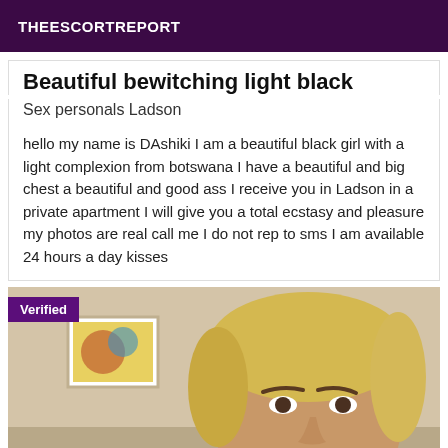THEESCORTREPORT
Beautiful bewitching light black
Sex personals Ladson
hello my name is DAshiki I am a beautiful black girl with a light complexion from botswana I have a beautiful and big chest a beautiful and good ass I receive you in Ladson in a private apartment I will give you a total ecstasy and pleasure my photos are real call me I do not rep to sms I am available 24 hours a day kisses
[Figure (photo): Close-up photo of a blonde woman with short hair, taken indoors near a wall with a framed picture. A 'Verified' badge is shown in the top-left corner of the image.]